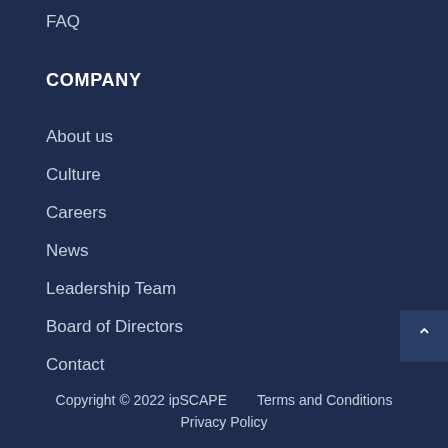FAQ
COMPANY
About us
Culture
Careers
News
Leadership Team
Board of Directors
Contact
Copyright © 2022 ipSCAPE      Terms and Conditions
Privacy Policy